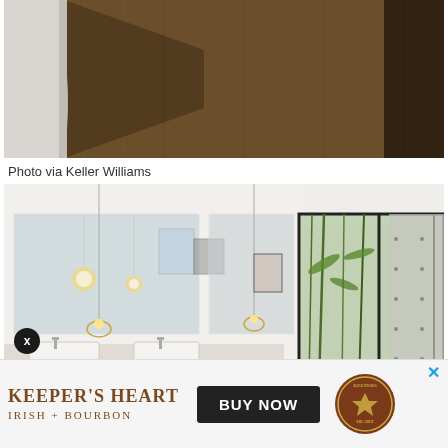[Figure (photo): Interior photo of a narrow hallway or stairwell with wood-paneled walls in dark/brown tones, white walls visible on left side]
Photo via Keller Williams
[Figure (photo): Modern bathroom interior with large mirror, pendant lights, double sinks on white vanity, and a large sliding glass door/window showing a garden courtyard with bamboo]
[Figure (advertisement): Keeper's Heart Irish + Bourbon advertisement banner with BUY NOW button and circular logo]